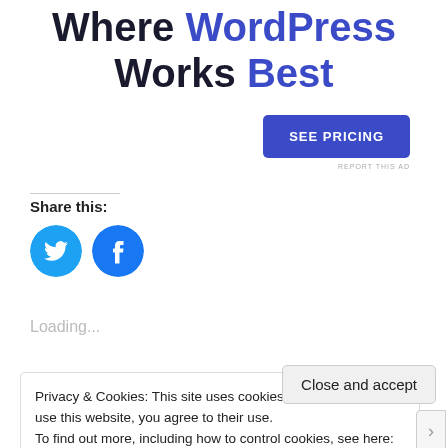Where WordPress Works Best
[Figure (other): SEE PRICING button - dark blue rounded rectangle button]
REPORT THIS AD
Share this:
[Figure (other): Twitter and Facebook circular share icon buttons in cyan/blue]
Loading...
Privacy & Cookies: This site uses cookies. By continuing to use this website, you agree to their use. To find out more, including how to control cookies, see here: Cookie Policy
Close and accept